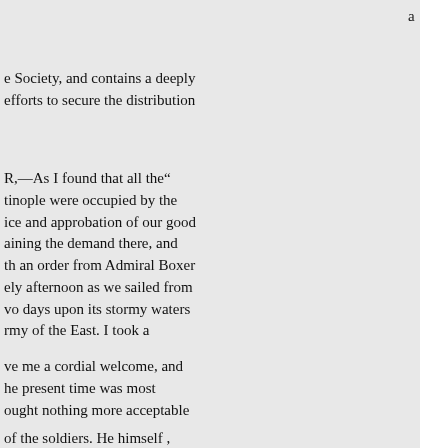a
e Society, and contains a deeply
efforts to secure the distribution
R,—As I found that all the"
tinople were occupied by the
ice and approbation of our good
aining the demand there, and
th an order from Admiral Boxer
ely afternoon as we sailed from
vo days upon its stormy waters
rmy of the East. I took a
ve me a cordial welcome, and
he present time was most
ought nothing more acceptable
of the soldiers. He himself ,
accomplish must be done in the